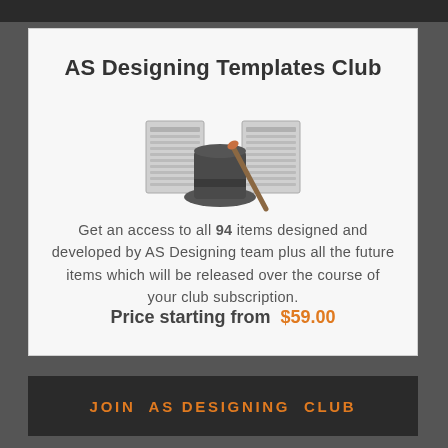AS Designing Templates Club
[Figure (illustration): A magic hat with a wand and document/template icons in the background]
Get an access to all 94 items designed and developed by AS Designing team plus all the future items which will be released over the course of your club subscription.
Price starting from $59.00
JOIN AS DESIGNING CLUB